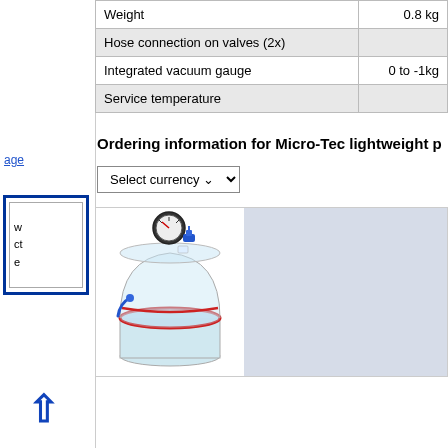| Property | Value |
| --- | --- |
| Weight | 0.8 kg |
| Hose connection on valves (2x) |  |
| Integrated vacuum gauge | 0 to -1kg |
| Service temperature |  |
Ordering information for Micro-Tec lightweight p
Select currency
[Figure (photo): Micro-Tec lightweight vacuum chamber with transparent dome, red seal, pressure gauge on top, and blue valve fittings, shown in a product image with a light blue background panel on the right.]